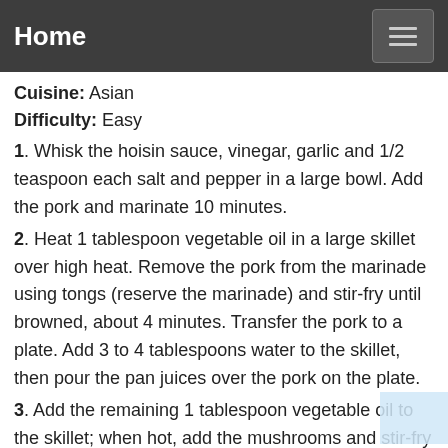Home
Cuisine: Asian
Difficulty: Easy
1. Whisk the hoisin sauce, vinegar, garlic and 1/2 teaspoon each salt and pepper in a large bowl. Add the pork and marinate 10 minutes.
2. Heat 1 tablespoon vegetable oil in a large skillet over high heat. Remove the pork from the marinade using tongs (reserve the marinade) and stir-fry until browned, about 4 minutes. Transfer the pork to a plate. Add 3 to 4 tablespoons water to the skillet, then pour the pan juices over the pork on the plate.
3. Add the remaining 1 tablespoon vegetable oil to the skillet; when hot, add the mushrooms and stir-fry until slightly golden, about 2 minutes. Add the coleslaw mix and cook until wilted, about 3 minutes. Add the pork, the reserved marinade and half of the scallions; stir-fry 2 more minutes. Season with salt and sprinkle with the remaining